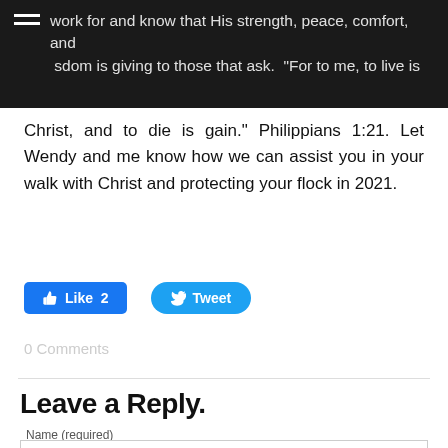work for and know that His strength, peace, comfort, and wisdom is giving to those that ask. “For to me, to live is Christ, and to die is gain.” Philippians 1:21. Let Wendy and me know how we can assist you in your walk with Christ and protecting your flock in 2021.
Christ, and to die is gain.” Philippians 1:21. Let Wendy and me know how we can assist you in your walk with Christ and protecting your flock in 2021.
[Figure (screenshot): Facebook Like button with count 2 and Twitter Tweet button]
0 Comments
Leave a Reply.
Name (required)